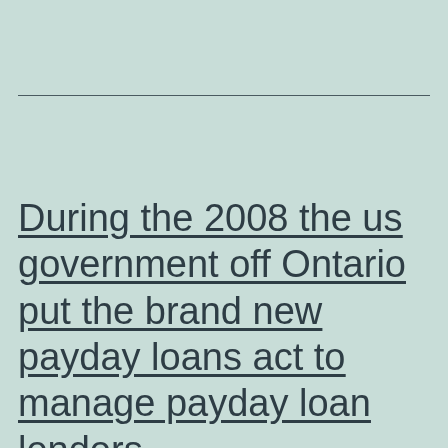During the 2008 the us government off Ontario put the brand new payday loans act to manage payday loan lenders